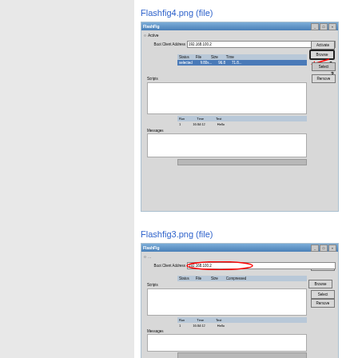Flashfig4.png (file)
[Figure (screenshot): Screenshot of Flashfig application window showing Boot Client Address field with 192.168.100.2, a file selected in the scripts table with status 'selected', and annotated with numbers 1, 2, 3 pointing to Activate button, selected row, and Remove button respectively, with a red arrow pointing to region 2.]
Flashfig3.png (file)
[Figure (screenshot): Screenshot of Flashfig application window showing Boot Client Address field with 192.168.100.2 highlighted in red oval, with Scripts, Run/Time/Test table, and Messages sections visible.]